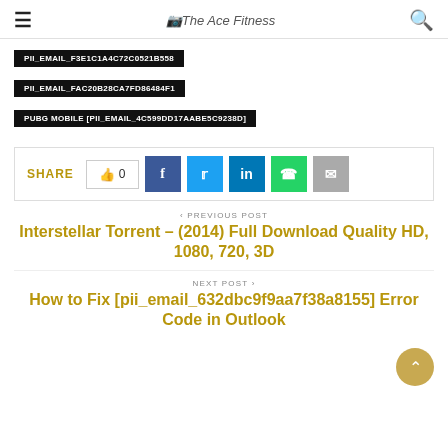The Ace Fitness
PII_EMAIL_F3E1C1A4C72C0521B558
PII_EMAIL_FAC20B28CA7FD86484F1
PUBG MOBILE [PII_EMAIL_4C599DD17AABE5C9238D]
SHARE 0
< PREVIOUS POST
Interstellar Torrent – (2014) Full Download Quality HD, 1080, 720, 3D
NEXT POST >
How to Fix [pii_email_632dbc9f9aa7f38a8155] Error Code in Outlook